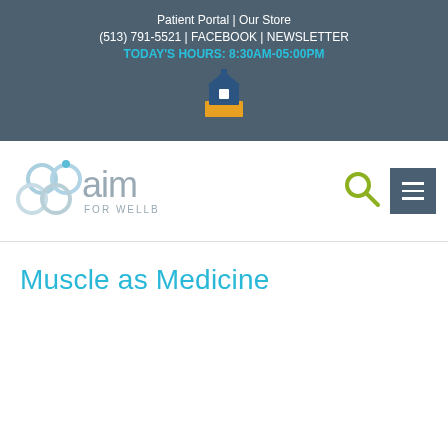Patient Portal | Our Store
(513) 791-5521 | FACEBOOK | NEWSLETTER
TODAY'S HOURS: 8:30AM-05:00PM
[Figure (logo): Building/house icon logo in blue and gold colors]
[Figure (logo): AIM for Wellbeing logo with circular bubble shapes in light blue/gray and text 'aim FOR WELLBEING']
[Figure (other): Search icon (magnifying glass) in olive/green color]
[Figure (other): Hamburger menu button with three horizontal lines on dark gray background]
Muscle as Medicine